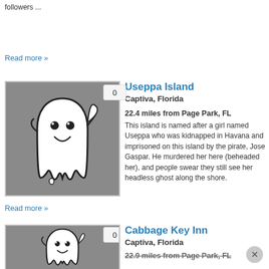followers ...
Read more »
[Figure (illustration): Ghost illustration on grey background with badge showing 0]
Useppa Island
Captiva, Florida
22.4 miles from Page Park, FL
This island is named after a girl named Useppa who was kidnapped in Havana and imprisoned on this island by the pirate, Jose Gaspar. He murdered her here (beheaded her), and people swear they still see her headless ghost along the shore.
Read more »
[Figure (illustration): Ghost illustration on grey background with badge showing 0]
Cabbage Key Inn
Captiva, Florida
22.9 miles from Page Park, FL
According to the locals, the inn's restau... specialty "Cheeseburger in Paradise" inspire...